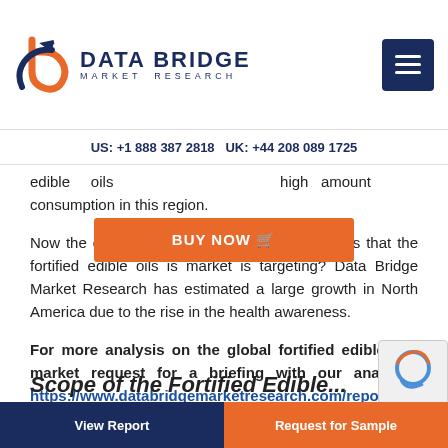DATA BRIDGE MARKET RESEARCH | US: +1 888 387 2818 UK: +44 208 089 1725
edible oils [BUY NOW] high amount consumption in this region.
Now the question is which are the other regions that the fortified edible oils is market is targeting? Data Bridge Market Research has estimated a large growth in North America due to the rise in the health awareness.
For more analysis on the global fortified edible oils market request for a briefing with our analysts, https://www.databridgemarketresearch.com/reports/global-fortified-edible-oil-market
Scope of the Fortified Edible...
View Report | Request for Sample